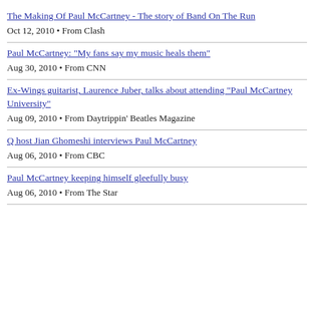The Making Of Paul McCartney - The story of Band On The Run
Oct 12, 2010 • From Clash
Paul McCartney: "My fans say my music heals them"
Aug 30, 2010 • From CNN
Ex-Wings guitarist, Laurence Juber, talks about attending "Paul McCartney University"
Aug 09, 2010 • From Daytrippin' Beatles Magazine
Q host Jian Ghomeshi interviews Paul McCartney
Aug 06, 2010 • From CBC
Paul McCartney keeping himself gleefully busy
Aug 06, 2010 • From The Star